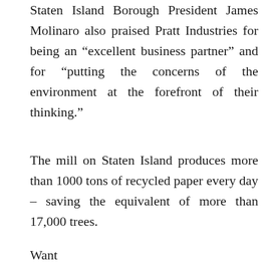Staten Island Borough President James Molinaro also praised Pratt Industries for being an “excellent business partner” and for “putting the concerns of the environment at the forefront of their thinking.”
The mill on Staten Island produces more than 1000 tons of recycled paper every day – saving the equivalent of more than 17,000 trees.
Want
[Figure (photo): Industrial facility interior photo with Facebook Like button overlay showing 3 likes]